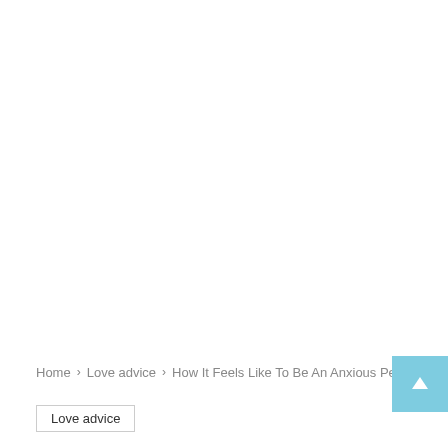Home › Love advice › How It Feels Like To Be An Anxious Person?
Love advice